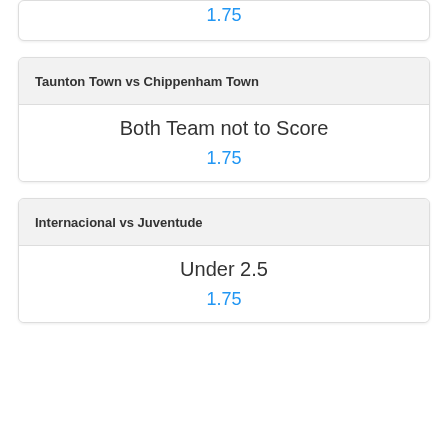1.75
Taunton Town vs Chippenham Town
Both Team not to Score
1.75
Internacional vs Juventude
Under 2.5
1.75